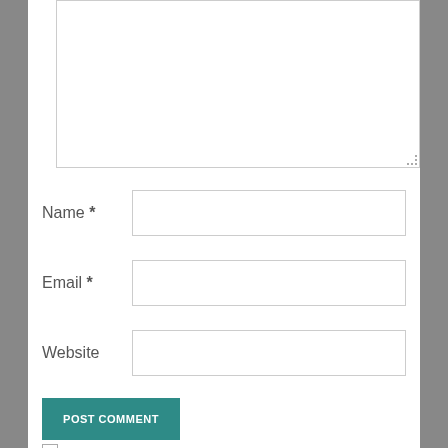[Figure (screenshot): A web comment form with a large text area at the top, followed by Name, Email, and Website input fields (each with an asterisk for required fields on Name and Email), a teal POST COMMENT button, and a checkbox labeled 'Notify me of new comments via email'.]
Name *
Email *
Website
POST COMMENT
Notify me of new comments via email